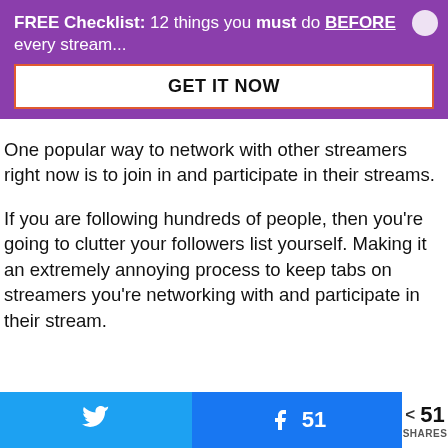FREE Checklist: 12 things you must do BEFORE every stream...
GET IT NOW
One popular way to network with other streamers right now is to join in and participate in their streams.
If you are following hundreds of people, then you're going to clutter your followers list yourself. Making it an extremely annoying process to keep tabs on streamers you're networking with and participate in their stream.
51 SHARES